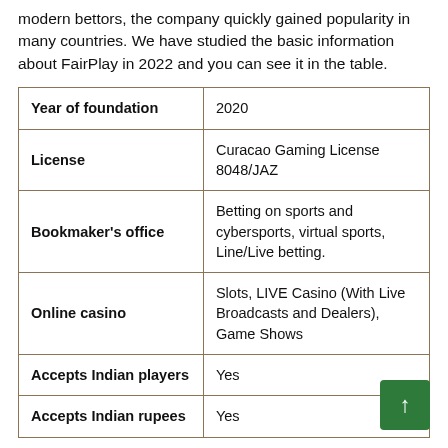modern bettors, the company quickly gained popularity in many countries. We have studied the basic information about FairPlay in 2022 and you can see it in the table.
|  |  |
| --- | --- |
| Year of foundation | 2020 |
| License | Curacao Gaming License 8048/JAZ |
| Bookmaker's office | Betting on sports and cybersports, virtual sports, Line/Live betting. |
| Online casino | Slots, LIVE Casino (With Live Broadcasts and Dealers), Game Shows |
| Accepts Indian players | Yes |
| Accepts Indian rupees | Yes |